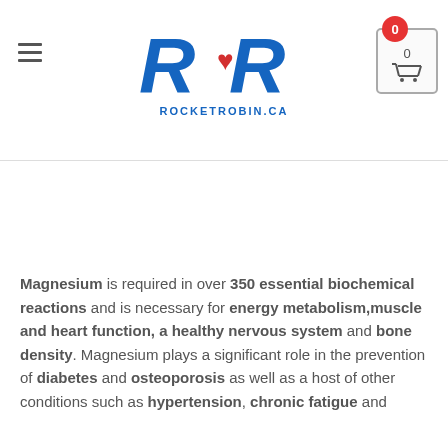ROCKETROBIN.CA
Magnesium is required in over 350 essential biochemical reactions and is necessary for energy metabolism, muscle and heart function, a healthy nervous system and bone density. Magnesium plays a significant role in the prevention of diabetes and osteoporosis as well as a host of other conditions such as hypertension, chronic fatigue and